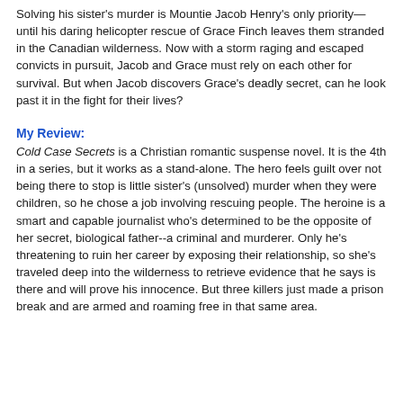Solving his sister's murder is Mountie Jacob Henry's only priority—until his daring helicopter rescue of Grace Finch leaves them stranded in the Canadian wilderness. Now with a storm raging and escaped convicts in pursuit, Jacob and Grace must rely on each other for survival. But when Jacob discovers Grace's deadly secret, can he look past it in the fight for their lives?
My Review:
Cold Case Secrets is a Christian romantic suspense novel. It is the 4th in a series, but it works as a stand-alone. The hero feels guilt over not being there to stop is little sister's (unsolved) murder when they were children, so he chose a job involving rescuing people. The heroine is a smart and capable journalist who's determined to be the opposite of her secret, biological father--a criminal and murderer. Only he's threatening to ruin her career by exposing their relationship, so she's traveled deep into the wilderness to retrieve evidence that he says is there and will prove his innocence. But three killers just made a prison break and are armed and roaming free in that same area.